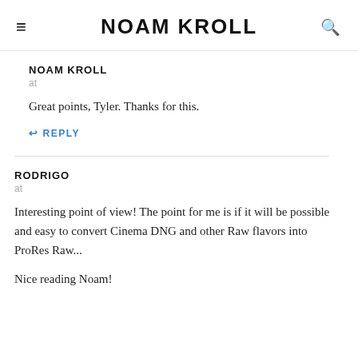NOAM KROLL
NOAM KROLL
at
Great points, Tyler. Thanks for this.
↩ REPLY
RODRIGO
at
Interesting point of view! The point for me is if it will be possible and easy to convert Cinema DNG and other Raw flavors into ProRes Raw...
Nice reading Noam!